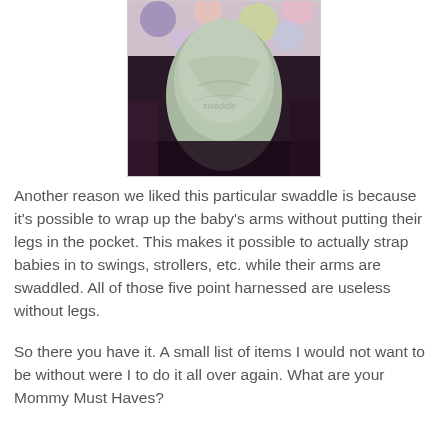[Figure (photo): Photo of a baby wrapped in a light green swaddle blanket, lying against a dark background with colorful polka-dot fabric visible at the top. The word 'swaddle' is faintly visible on the blanket.]
Another reason we liked this particular swaddle is because it's possible to wrap up the baby's arms without putting their legs in the pocket. This makes it possible to actually strap babies in to swings, strollers, etc. while their arms are swaddled. All of those five point harnessed are useless without legs.
So there you have it. A small list of items I would not want to be without were I to do it all over again. What are your Mommy Must Haves?